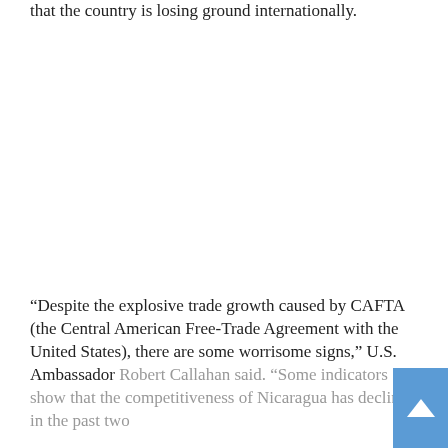that the country is losing ground internationally.
“Despite the explosive trade growth caused by CAFTA (the Central American Free-Trade Agreement with the United States), there are some worrisome signs,” U.S. Ambassador Robert Callahan said. “Some indicators show that the competitiveness of Nicaragua has declined in the past two